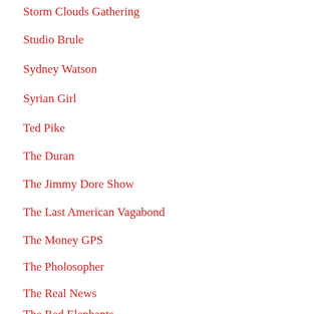Storm Clouds Gathering
Studio Brule
Sydney Watson
Syrian Girl
Ted Pike
The Duran
The Jimmy Dore Show
The Last American Vagabond
The Money GPS
The Pholosopher
The Real News
The Red Elephants